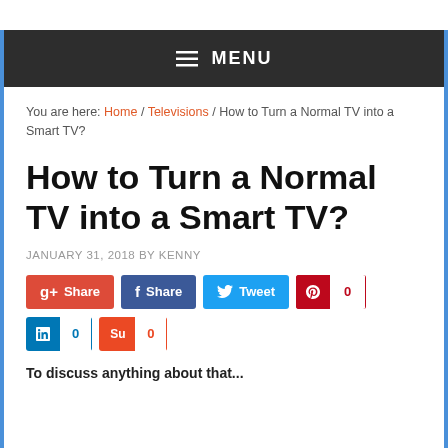≡ MENU
You are here: Home / Televisions / How to Turn a Normal TV into a Smart TV?
How to Turn a Normal TV into a Smart TV?
JANUARY 31, 2018 BY KENNY
g+ Share | f Share | Tweet | 0 | in 0 | 0
To discuss anything about that...